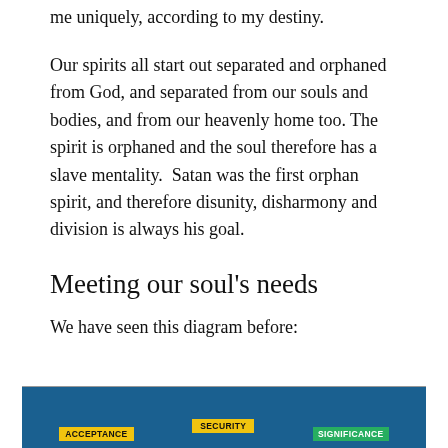me uniquely, according to my destiny.
Our spirits all start out separated and orphaned from God, and separated from our souls and bodies, and from our heavenly home too. The spirit is orphaned and the soul therefore has a slave mentality.  Satan was the first orphan spirit, and therefore disunity, disharmony and division is always his goal.
Meeting our soul’s needs
We have seen this diagram before:
[Figure (infographic): Dark blue diagram background with yellow and green label boxes reading ACCEPTANCE, SECURITY, and SIGNIFICANCE near the bottom]